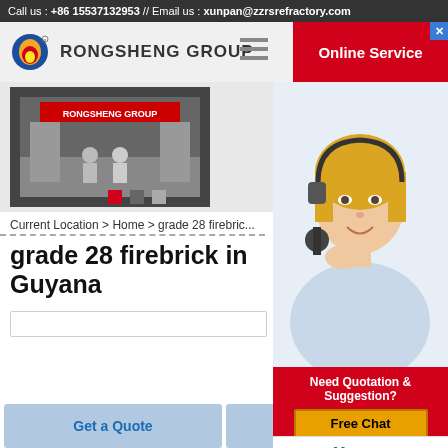Call us : +86 15537132953 // Email us : xunpan@zzrsrefractory.com
[Figure (logo): Rongsheng Group logo with flame/globe icon and text RONGSHENG GROUP]
[Figure (photo): Rongsheng Group exhibition booth photo]
[Figure (photo): Online service representative woman with headset]
Current Location > Home > grade 28 firebric...
grade 28 firebrick in Guyana
Need Quotation & Suggestion?
Free Chat
Menu
Get a Quote
Chat Now